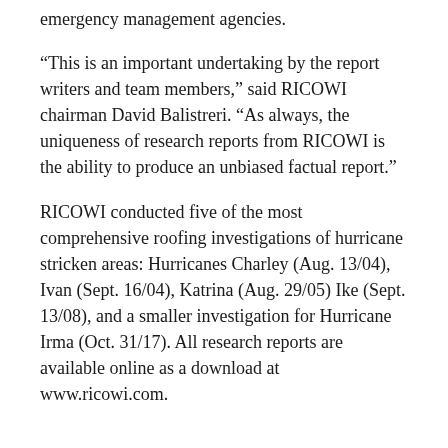emergency management agencies.
“This is an important undertaking by the report writers and team members,” said RICOWI chairman David Balistreri. “As always, the uniqueness of research reports from RICOWI is the ability to produce an unbiased factual report.”
RICOWI conducted five of the most comprehensive roofing investigations of hurricane stricken areas: Hurricanes Charley (Aug. 13/04), Ivan (Sept. 16/04), Katrina (Aug. 29/05) Ike (Sept. 13/08), and a smaller investigation for Hurricane Irma (Oct. 31/17). All research reports are available online as a download at www.ricowi.com.